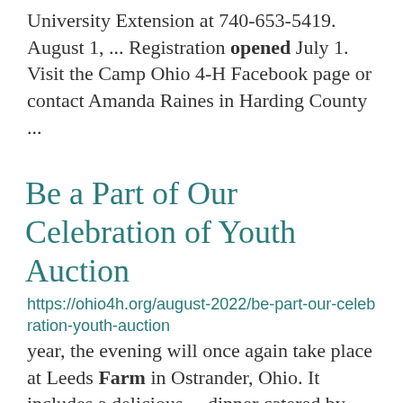University Extension at 740-653-5419. August 1, ... Registration opened July 1. Visit the Camp Ohio 4-H Facebook page or contact Amanda Raines in Harding County ...
Be a Part of Our Celebration of Youth Auction
https://ohio4h.org/august-2022/be-part-our-celebration-youth-auction
year, the evening will once again take place at Leeds Farm in Ostrander, Ohio. It includes a delicious ... dinner catered by City Barbeque and features a variety of farm activities for attendees to participate